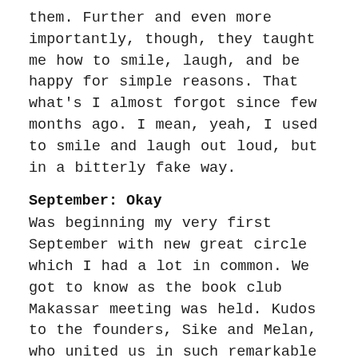them. Further and even more importantly, though, they taught me how to smile, laugh, and be happy for simple reasons. That what's I almost forgot since few months ago. I mean, yeah, I used to smile and laugh out loud, but in a bitterly fake way.
September: Okay
Was beginning my very first September with new great circle which I had a lot in common. We got to know as the book club Makassar meeting was held. Kudos to the founders, Sike and Melan, who united us in such remarkable way. Anyways, this agenda also relieved me since laughter and jokes are so natural and clicked.